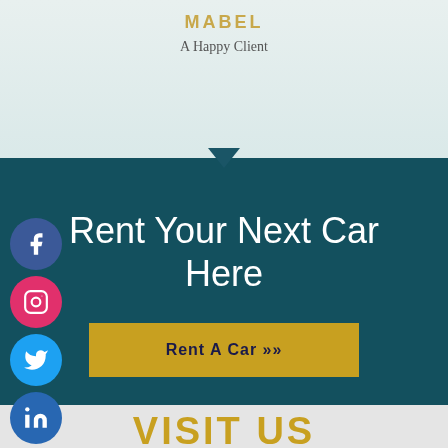MABEL
A Happy Client
Rent Your Next Car Here
Rent A Car »
[Figure (infographic): Social media icons column: Facebook (blue circle), Instagram (pink/red circle), Twitter (light blue circle), LinkedIn (blue circle), WhatsApp (green circle)]
VISIT US